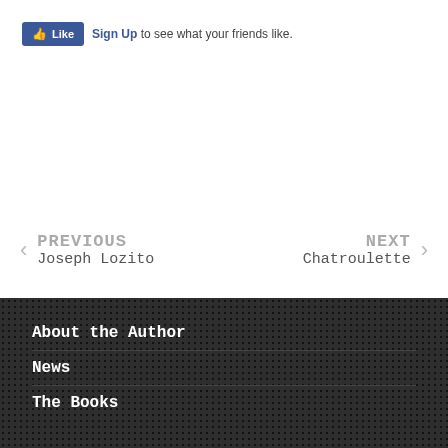[Figure (screenshot): Facebook Like button with thumbs up icon and 'Sign Up to see what your friends like.' text]
PREVIOUS
Joseph Lozito
NEXT
Chatroulette
About the Author
News
The Books